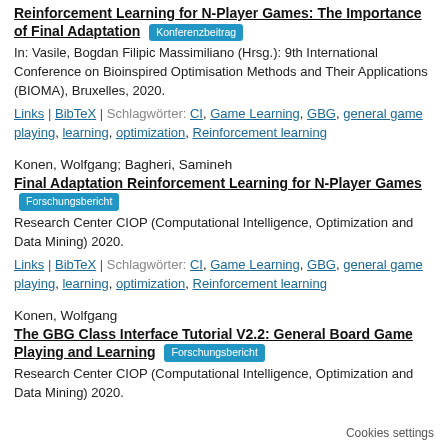[partial entry cut off at top]
Reinforcement Learning for N-Player Games: The Importance of Final Adaptation [Konferenzbeitrag]
In: Vasile, Bogdan Filipic Massimiliano (Hrsg.): 9th International Conference on Bioinspired Optimisation Methods and Their Applications (BIOMA), Bruxelles, 2020.
Links | BibTeX | Schlagwörter: CI, Game Learning, GBG, general game playing, learning, optimization, Reinforcement learning
Konen, Wolfgang; Bagheri, Samineh
Final Adaptation Reinforcement Learning for N-Player Games [Forschungsbericht]
Research Center CIOP (Computational Intelligence, Optimization and Data Mining) 2020.
Links | BibTeX | Schlagwörter: CI, Game Learning, GBG, general game playing, learning, optimization, Reinforcement learning
Konen, Wolfgang
The GBG Class Interface Tutorial V2.2: General Board Game Playing and Learning [Forschungsbericht]
Research Center CIOP (Computational Intelligence, Optimization and Data Mining) 2020.
Cookies settings